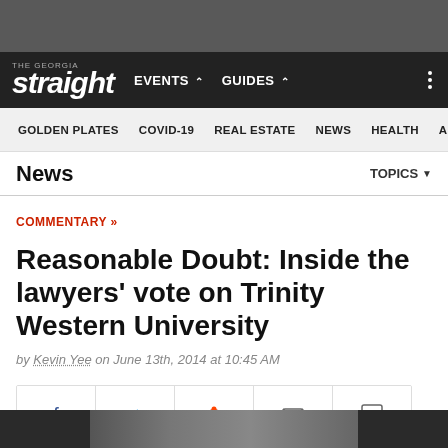[Figure (screenshot): Top dark grey browser chrome bar]
straight EVENTS ▼ GUIDES ▼
GOLDEN PLATES COVID-19 REAL ESTATE NEWS HEALTH ARTS
News TOPICS ▼
COMMENTARY »
Reasonable Doubt: Inside the lawyers' vote on Trinity Western University
by Kevin Yee on June 13th, 2014 at 10:45 AM
[Figure (infographic): Social sharing buttons: Facebook, Twitter, Reddit, Email, Comment]
[Figure (photo): Bottom image strip showing a partial photo]